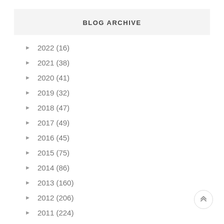BLOG ARCHIVE
► 2022 (16)
► 2021 (38)
► 2020 (41)
► 2019 (32)
► 2018 (47)
► 2017 (49)
► 2016 (45)
► 2015 (75)
► 2014 (86)
► 2013 (160)
► 2012 (206)
► 2011 (224)
► 2010 (260)